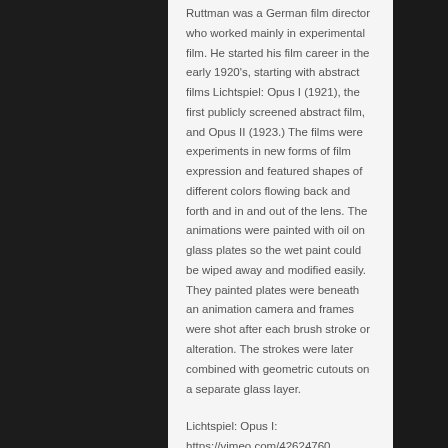Ruttman was a German film director who worked mainly in experimental film. He started his film career in the early 1920's, starting with abstract films Lichtspiel: Opus I (1921), the first publicly screened abstract film, and Opus II (1923.) The films were experiments in new forms of film expression and featured shapes of different colors flowing back and forth and in and out of the lens. The animations were painted with oil on glass plates so the wet paint could be wiped away and modified easily. They painted plates were beneath an animation camera and frames were shot after each brush stroke or alteration. The strokes were later combined with geometric cutouts on a separate glass layer.
Lichtspiel: Opus I:
https://vimeo.com/42624760
Fernand Leger (1881-1955)